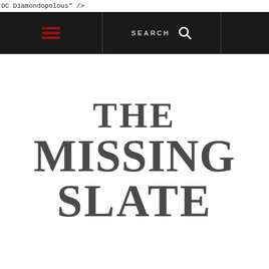DC Diamondopolous" />
[Figure (logo): Navigation bar with hamburger menu icon in dark red and SEARCH label with magnifying glass icon on dark background]
[Figure (logo): The Missing Slate publication logo in bold serif typography, dark gray color, stacked text layout]